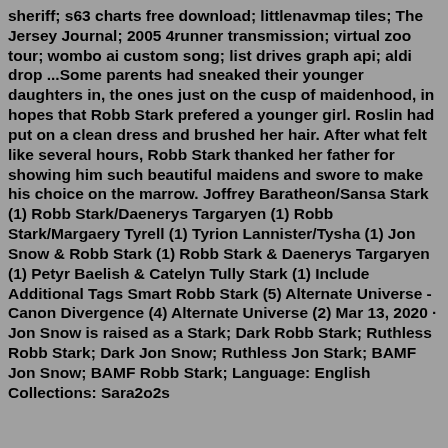sheriff; s63 charts free download; littlenavmap tiles; The Jersey Journal; 2005 4runner transmission; virtual zoo tour; wombo ai custom song; list drives graph api; aldi drop ...Some parents had sneaked their younger daughters in, the ones just on the cusp of maidenhood, in hopes that Robb Stark prefered a younger girl. Roslin had put on a clean dress and brushed her hair. After what felt like several hours, Robb Stark thanked her father for showing him such beautiful maidens and swore to make his choice on the marrow. Joffrey Baratheon/Sansa Stark (1) Robb Stark/Daenerys Targaryen (1) Robb Stark/Margaery Tyrell (1) Tyrion Lannister/Tysha (1) Jon Snow & Robb Stark (1) Robb Stark & Daenerys Targaryen (1) Petyr Baelish & Catelyn Tully Stark (1) Include Additional Tags Smart Robb Stark (5) Alternate Universe - Canon Divergence (4) Alternate Universe (2) Mar 13, 2020 · Jon Snow is raised as a Stark; Dark Robb Stark; Ruthless Robb Stark; Dark Jon Snow; Ruthless Jon Stark; BAMF Jon Snow; BAMF Robb Stark; Language: English Collections: Sara2o2s